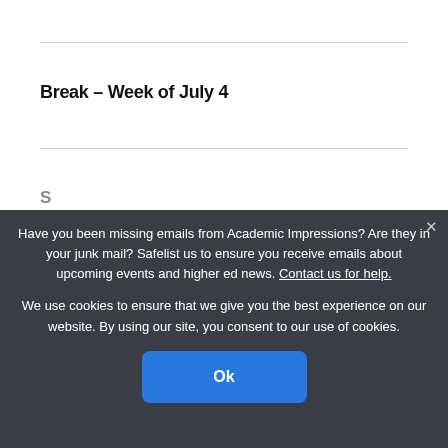Break – Week of July 4
Have you been missing emails from Academic Impressions? Are they in your junk mail? Safelist us to ensure you receive emails about upcoming events and higher ed news. Contact us for help.
We use cookies to ensure that we give you the best experience on our website. By using our site, you consent to our use of cookies.